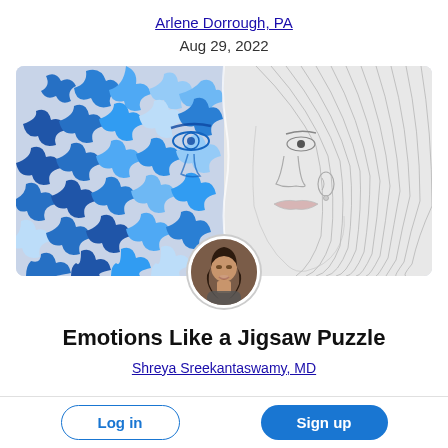Arlene Dorrough, PA
Aug 29, 2022
[Figure (illustration): Split-face illustration: left half made of blue jigsaw puzzle pieces forming a face, right half a realistic pencil sketch of a young woman. A circular avatar photo of a woman (Shreya Sreekantaswamy) is overlaid at the bottom center.]
Emotions Like a Jigsaw Puzzle
Shreya Sreekantaswamy, MD
Log in
Sign up